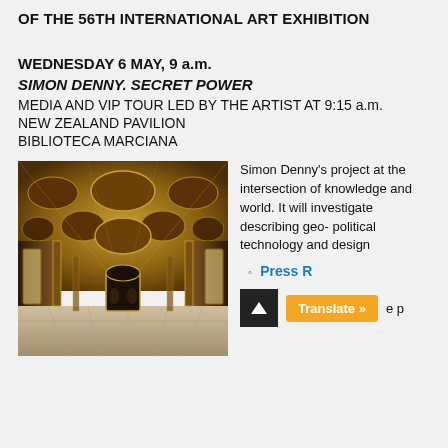OF THE 56TH INTERNATIONAL ART EXHIBITION
WEDNESDAY 6 MAY, 9 a.m.
SIMON DENNY. SECRET POWER
MEDIA AND VIP TOUR LED BY THE ARTIST AT 9:15 a.m.
NEW ZEALAND PAVILION
BIBLIOTECA MARCIANA
[Figure (photo): Interior of Biblioteca Marciana showing ornate painted ceiling with oval medallions, arched windows, and elaborate gold decoration in a grand hall with marble floor]
Simon Denny's project at the intersection of knowledge and world. It will investigate describing geo- political technology and design
Press R
Translate »  e p